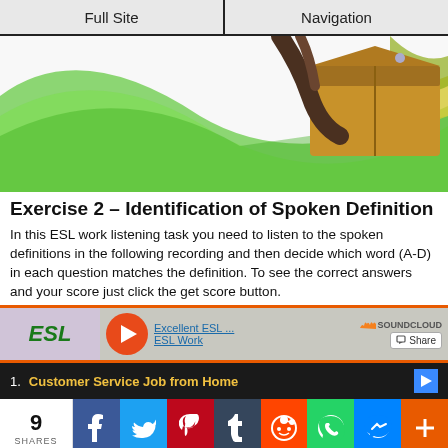Full Site | Navigation
[Figure (illustration): Decorative ESL website hero image showing a cardboard box on a desk with green swoosh design elements in the background]
Exercise 2 – Identification of Spoken Definition
In this ESL work listening task you need to listen to the spoken definitions in the following recording and then decide which word (A-D) in each question matches the definition. To see the correct answers and your score just click the get score button.
[Figure (screenshot): SoundCloud audio player embed showing ESL branding, play button, track title 'Excellent ESL' and 'ESL Work', with Share button]
1. Customer Service Job from Home
9 SHARES — social share buttons: Facebook, Twitter, Pinterest, Tumblr, Reddit, WhatsApp, Messenger, Plus